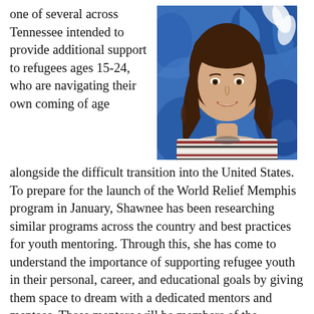one of several across Tennessee intended to provide additional support to refugees ages 15-24, who are navigating their own coming of age
[Figure (photo): A young woman with long brown wavy hair, wearing a striped shirt, smiling in front of a blue floral background.]
alongside the difficult transition into the United States. To prepare for the launch of the World Relief Memphis program in January, Shawnee has been researching similar programs across the country and best practices for youth mentoring. Through this, she has come to understand the importance of supporting refugee youth in their personal, career, and educational goals by giving them space to dream with a dedicated mentors and mentees. These mentors will be members of the welcoming Memphis community, including well-established immigrant communities.